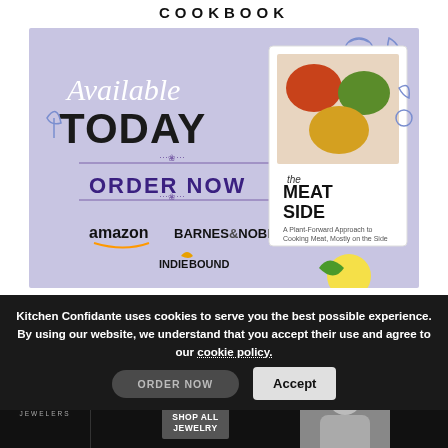COOKBOOK
[Figure (illustration): Cookbook promotional banner with lavender/purple background showing 'Available TODAY - ORDER NOW' text with the 'Meat Side' cookbook cover, retailer logos for Amazon, Barnes & Noble, and IndieBound, and decorative food illustrations around the border.]
Kitchen Confidante uses cookies to serve you the best possible experience. By using our website, we understand that you accept their use and agree to our cookie policy.
[Figure (infographic): Bottom advertisement banner for KAY Jewelers with text 'For your one true love', a 'SHOP ALL JEWELRY' button, and a photo of a couple.]